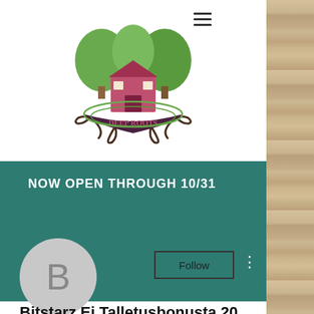[Figure (logo): Deep Roots farm/barn logo with pink barn, trees, and roots with banner reading DEEP ROOTS]
NOW OPEN THROUGH 10/31
[Figure (illustration): User avatar circle with letter B]
Follow
Bitstarz Ei Talletusbonusta 20...
0 Followers • 0 Following